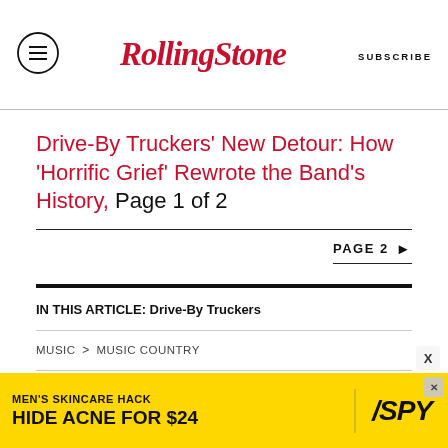RollingStone  SUBSCRIBE
Drive-By Truckers' New Detour: How 'Horrific Grief' Rewrote the Band's History, Page 1 of 2
PAGE 2 ▶
IN THIS ARTICLE: Drive-By Truckers
MUSIC > MUSIC COUNTRY
[Figure (other): Advertisement banner: MEN'S SKINCARE HACK HIDE ACNE FOR $24 with SPY logo on yellow background]